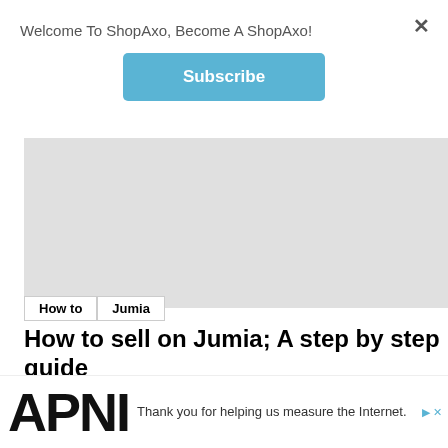Welcome To ShopAxo, Become A ShopAxo!
Subscribe
[Figure (photo): Gray placeholder image area for article header]
How to   Jumia
How to sell on Jumia; A step by step guide
by Maichah Marsden • 4 year ago
We use cookies to ensure that we give you the best experience on website. If you continue to use this site we will assume that you
Thank you for helping us measure the Internet.